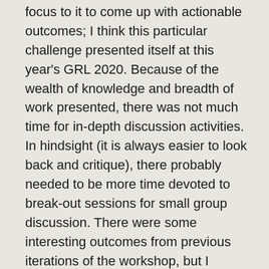focus to it to come up with actionable outcomes; I think this particular challenge presented itself at this year's GRL 2020. Because of the wealth of knowledge and breadth of work presented, there was not much time for in-depth discussion activities. In hindsight (it is always easier to look back and critique), there probably needed to be more time devoted to break-out sessions for small group discussion. There were some interesting outcomes from previous iterations of the workshop, but I personally did not get a good sense of this year's event extending on that work. That being said, with the number of presentations given in the workshop, it is hard to see where more discussion time could be had.
There will shortly be a post-workshop report that will be published to the website; I will write-up a post on that report once it is out. In the meantime, take a look